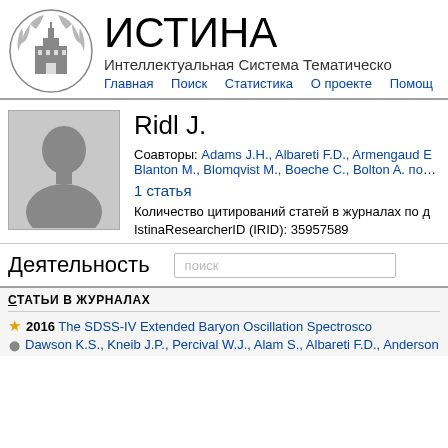[Figure (logo): Moscow State University logo/seal — circular emblem with university building and wreath]
ИСТИНА
Интеллектуальная Система Тематического
Главная   Поиск   Статистика   О проекте   Помощ
[Figure (photo): Default user avatar silhouette, grey background]
Ridl J.
Соавторы: Adams J.H., Albareti F.D., Armengaud E., Blanton M., Blomqvist M., Boeche C., Bolton A. показ
1 статья
Количество цитирований статей в журналах по д
IstinaResearcherID (IRID): 35957589
Деятельность
поиск
Статьи в журналах
2016 The SDSS-IV Extended Baryon Oscillation Spectrosco
Dawson K.S., Kneib J.P., Percival W.J., Alam S., Albareti F.D., Anderson S.